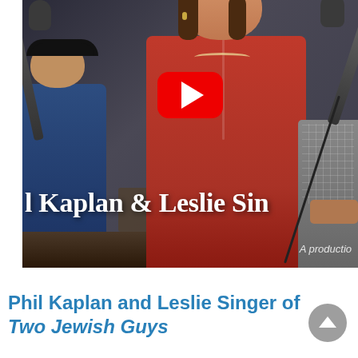[Figure (photo): YouTube video thumbnail showing a woman in a red outfit wearing headphones seated at a podcast/radio studio microphone. Text overlay reads 'l Kaplan & Leslie Sin' (partially visible). A YouTube play button overlay is visible in the center. Bottom right shows 'A productio' (partially visible).]
Phil Kaplan and Leslie Singer of Two Jewish Guys